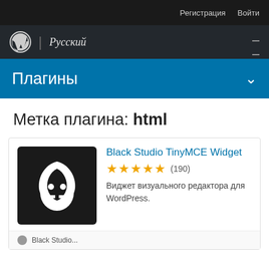Регистрация  Войти
WordPress | Русский
Плагины
Метка плагина: html
[Figure (logo): Black Studio TinyMCE Widget plugin icon — dark background with stylized flame/ghost character logo]
Black Studio TinyMCE Widget
★★★★★ (190)
Виджет визуального редактора для WordPress.
Black Studio...